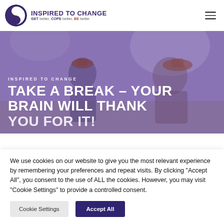INSPIRED TO CHANGE — GET better, COPE better, BE better
[Figure (screenshot): Hero banner image showing an adult and child playing outdoors with purple/lavender tint overlay. Text overlay reads 'INSPIRED TO CHANGE' and 'TAKE A BREAK – YOUR BRAIN WILL THANK YOU FOR IT!']
We use cookies on our website to give you the most relevant experience by remembering your preferences and repeat visits. By clicking "Accept All", you consent to the use of ALL the cookies. However, you may visit "Cookie Settings" to provide a controlled consent.
Cookie Settings | Accept All